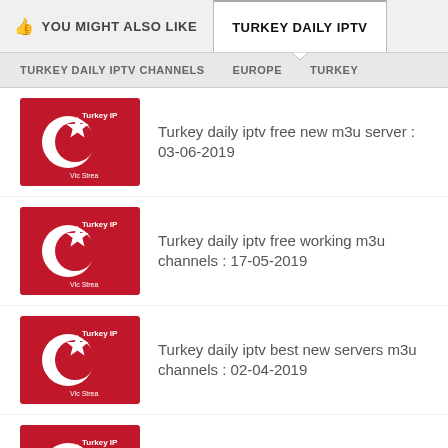YOU MIGHT ALSO LIKE | TURKEY DAILY IPTV
TURKEY DAILY IPTV CHANNELS | EUROPE | TURKEY
Turkey daily iptv free new m3u server : 03-06-2019
Turkey daily iptv free working m3u channels : 17-05-2019
Turkey daily iptv best new servers m3u channels : 02-04-2019
Turkey daily iptv free working servers m3u live channels : 30-03-2019
Turkey daily iptv free working servers m3u